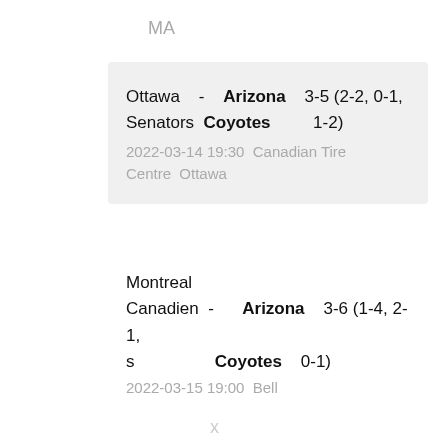MA
Ottawa Senators - Arizona Coyotes  3-5 (2-2, 0-1, 1-2)
2022-03-14 19:30  Canadian Tire Centre  Ottawa
Montreal Canadiens - Arizona Coyotes  3-6 (1-4, 2-1, 0-1)
2022-03-15 19:00  Bell
x